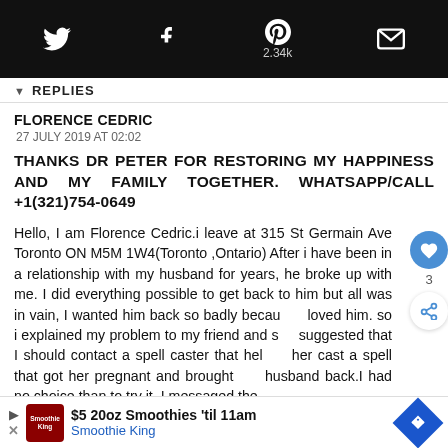Twitter | Facebook | Pinterest 2.34k | Mail
▼ REPLIES
FLORENCE CEDRIC
27 JULY 2019 AT 02:02
THANKS DR PETER FOR RESTORING MY HAPPINESS AND MY FAMILY TOGETHER. WHATSAPP/CALL +1(321)754-0649
Hello, I am Florence Cedric.i leave at 315 St Germain Ave Toronto ON M5M 1W4(Toronto ,Ontario) After i have been in a relationship with my husband for years, he broke up with me. I did everything possible to get back to him but all was in vain, I wanted him back so badly because i loved him. so i explained my problem to my friend and she suggested that I should contact a spell caster that help her cast a spell that got her pregnant and brought her husband back.I had no choice than to try it. I messaged the spell caster and...
$5 20oz Smoothies 'til 11am Smoothie King